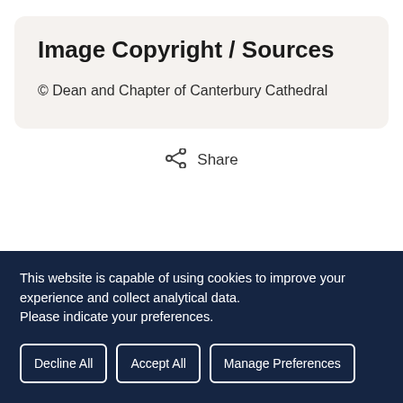Image Copyright / Sources
© Dean and Chapter of Canterbury Cathedral
Share
This website is capable of using cookies to improve your experience and collect analytical data.
Please indicate your preferences.
Decline All
Accept All
Manage Preferences